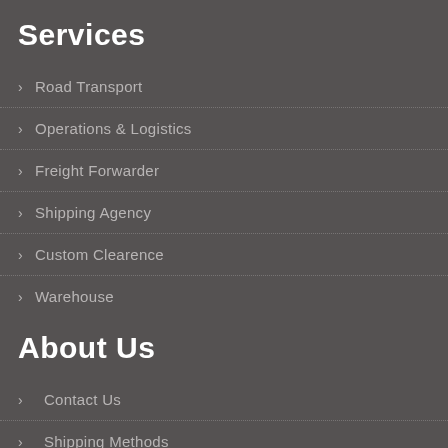Services
> Road Transport
> Operations & Logistics
> Freight Forwarder
> Shipping Agency
> Custom Clearence
> Warehouse
About Us
> Contact Us
> Shipping Methods